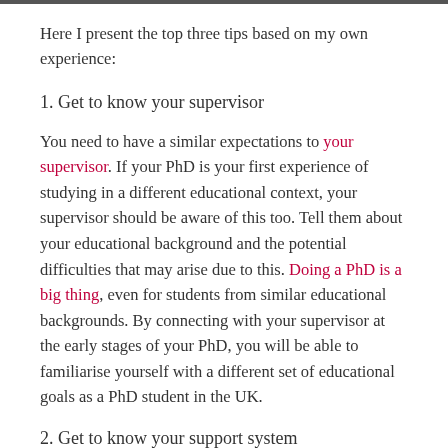Here I present the top three tips based on my own experience:
1. Get to know your supervisor
You need to have a similar expectations to your supervisor. If your PhD is your first experience of studying in a different educational context, your supervisor should be aware of this too. Tell them about your educational background and the potential difficulties that may arise due to this. Doing a PhD is a big thing, even for students from similar educational backgrounds. By connecting with your supervisor at the early stages of your PhD, you will be able to familiarise yourself with a different set of educational goals as a PhD student in the UK.
2. Get to know your support system